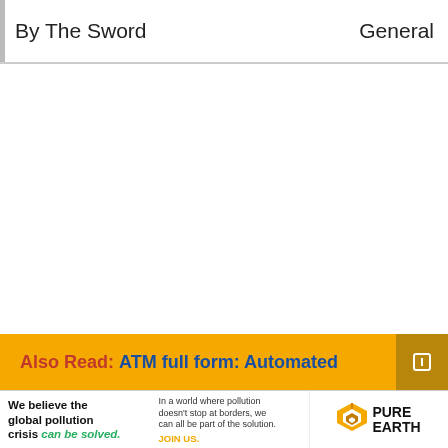By The Sword    General
Also Read: ATM full form: Automated
[Figure (infographic): Pure Earth advertisement banner: 'We believe the global pollution crisis can be solved.' with Pure Earth logo]